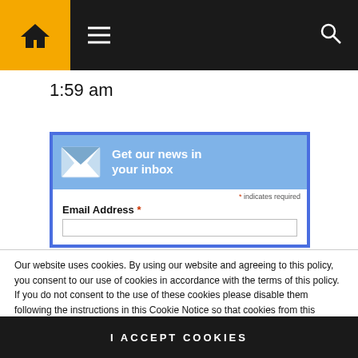Navigation bar with home icon, hamburger menu, and search icon
1:59 am
[Figure (screenshot): A newsletter signup widget with blue border. Contains a light blue banner with envelope icon and text 'Get our news in your inbox'. Below shows '* indicates required' and 'Email Address *' with an input field.]
Our website uses cookies. By using our website and agreeing to this policy, you consent to our use of cookies in accordance with the terms of this policy. If you do not consent to the use of these cookies please disable them following the instructions in this Cookie Notice so that cookies from this website cannot be placed on your device.
I ACCEPT COOKIES